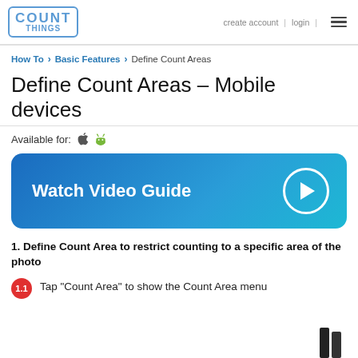COUNT THINGS | create account | login
How To > Basic Features > Define Count Areas
Define Count Areas – Mobile devices
Available for: [Apple] [Android]
[Figure (other): Blue gradient button with text 'Watch Video Guide' and a circular play icon on the right]
1. Define Count Area to restrict counting to a specific area of the photo
1.1 Tap "Count Area" to show the Count Area menu
[Figure (screenshot): Partial screenshot of mobile app interface visible at bottom right corner]